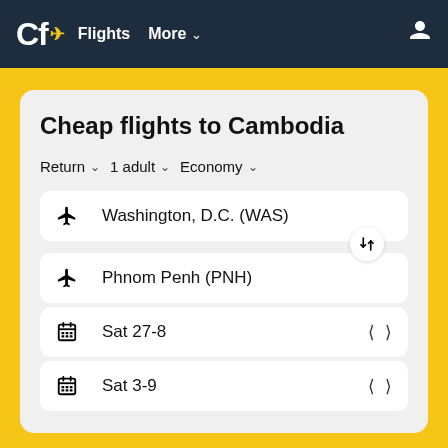Cf Flights More
Cheap flights to Cambodia
Return  1 adult  Economy
Washington, D.C. (WAS)
Phnom Penh (PNH)
Sat 27-8
Sat 3-9